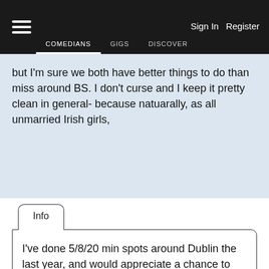COMEDIANS  GIGS  DISCOVER  Sign In  Register
but I'm sure we both have better things to do than miss around BS. I don't curse and I keep it pretty clean in general- because natuarally, as all unmarried Irish girls,
Info
I've done 5/8/20 min spots around Dublin the last year, and would appreciate a chance to become part of a human laugh, conveyer belt of jokes at your venue.
I guess I could thesaurus up some of these